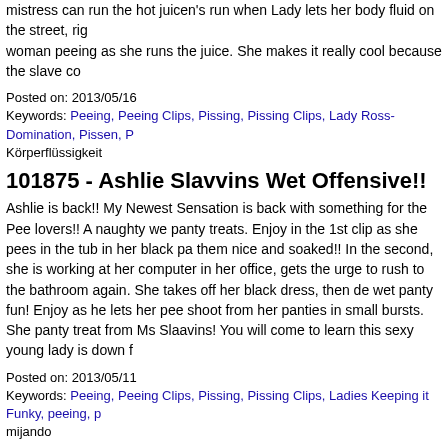mistress can run the hot juicen's fun when Lady lets her body fluid on the street, right. woman peeing as she runs the juice. She makes it really cool because the slave co
Posted on: 2013/05/16
Keywords: Peeing, Peeing Clips, Pissing, Pissing Clips, Lady Ross-Domination, Pissen, P Körperflüssigkeit
101875 - Ashlie Slavvins Wet Offensive!!
Ashlie is back!! My Newest Sensation is back with something for the Pee lovers!! A naughty we panty treats. Enjoy in the 1st clip as she pees in the tub in her black pa them nice and soaked!! In the second, she is working at her computer in her office, gets the urge to rush to the bathroom again. She takes off her black dress, then de wet panty fun! Enjoy as he lets her pee shoot from her panties in small bursts. She panty treat from Ms Slaavins! You will come to learn this sexy young lady is down f
Posted on: 2013/05/11
Keywords: Peeing, Peeing Clips, Pissing, Pissing Clips, Ladies Keeping it Funky, peeing, p mijando
96638 - Mom's piss tastes best
If two horny MILF's meet again and feel like the horny pee, then there is no better t piss tastes best there? Of course Mommy's best juice, fresh from the pussy. So go
Posted on: 2013/04/24
Keywords: Peeing, Peeing Clips, Pissing, Pissing Clips, DirtyTina, pee, peeing, pisse, schl
93858 - Pleasurably pissed in my jeans - golden shower P
Today I once again had the demand to just let go and piss in my jeans. Since I also extremely horny when I piss in my broken jeans I have put me extra so that you ca would it have been now if you had been there to lick me the Jenas again clean.